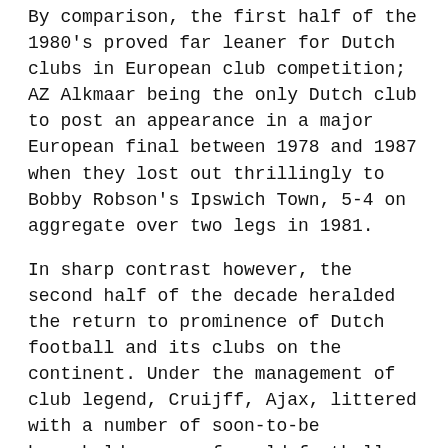By comparison, the first half of the 1980's proved far leaner for Dutch clubs in European club competition; AZ Alkmaar being the only Dutch club to post an appearance in a major European final between 1978 and 1987 when they lost out thrillingly to Bobby Robson's Ipswich Town, 5-4 on aggregate over two legs in 1981.
In sharp contrast however, the second half of the decade heralded the return to prominence of Dutch football and its clubs on the continent. Under the management of club legend, Cruijff, Ajax, littered with a number of soon-to-be household names of world football: Rijkaard, van Basten, Bergkamp, Winter and Muhren, claimed the UEFA Cup Winners Cup in 1987 against the East German side, Lokomotiv Leipzig, through a lone strike in the 20th minute by Marco van Basten at the Olympic Stadium in Athens. The Amsterdam club returned to the final a year later only to lose out by the same score line to Belgian side, Mechelen.